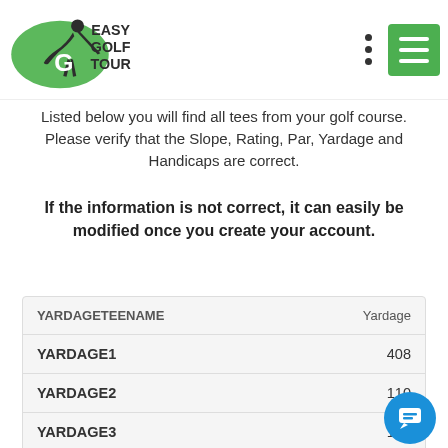Easy Golf Tour
Listed below you will find all tees from your golf course. Please verify that the Slope, Rating, Par, Yardage and Handicaps are correct.
If the information is not correct, it can easily be modified once you create your account.
| YARDAGETEENAME | Yardage |
| --- | --- |
| YARDAGE1 | 408 |
| YARDAGE2 | 110 |
| YARDAGE3 | 188 |
| YARDAGE4 | 387 |
| YARDAGE5 |  |
| YARDAGE6 |  |